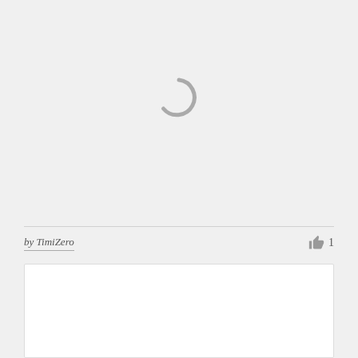[Figure (other): Loading spinner (partial circle arc) shown in a light gray card area]
by TimiZero
1
[Figure (other): White card/panel at bottom of page, mostly empty]